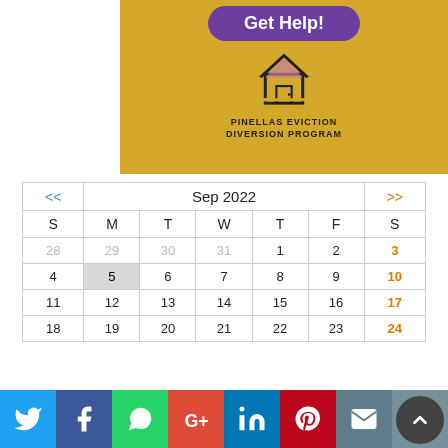[Figure (logo): Pinellas Eviction Diversion Program banner with Get Help! button and house logo on yellow background]
| S | M | T | W | T | F | S |
| --- | --- | --- | --- | --- | --- | --- |
| 28 | 29 | 30 | 31 | 1 | 2 | 3 |
| 4 | 5 | 6 | 7 | 8 | 9 | 10 |
| 11 | 12 | 13 | 14 | 15 | 16 | 17 |
| 18 | 19 | 20 | 21 | 22 | 23 | 24 |
[Figure (infographic): Social media sharing buttons: Twitter, Facebook, WhatsApp, Google+, LinkedIn, Pinterest, Email, Print]